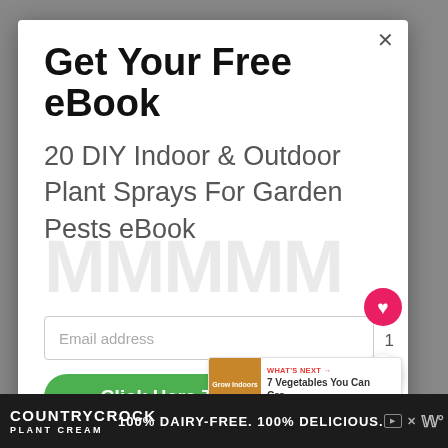Get Your Free eBook
20 DIY Indoor & Outdoor Plant Sprays For Garden Pests eBook
Email address
Click Here To Get Yours
WHAT'S NEXT → 7 Vegetables You Can Gro...
COUNTRYCROCK PLANT CREAM 100% DAIRY-FREE. 100% DELICIOUS.